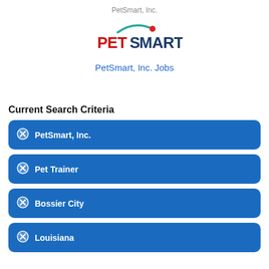PetSmart, Inc.
[Figure (logo): PetSmart logo with red and dark blue text and a teal arc above]
PetSmart, Inc. Jobs
Current Search Criteria
PetSmart, Inc.
Pet Trainer
Bossier City
Louisiana